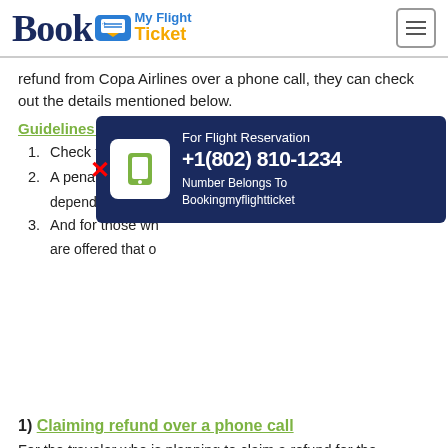Book My Flight Ticket
refund from Copa Airlines over a phone call, they can check out the details mentioned below.
Guidelines to remember:
1. Check the eligibility of the reservations
2. A penalty fee will be charged depending on the...
3. And for those wh... are offered that o...
[Figure (infographic): Phone popup with green mobile icon, text 'For Flight Reservation', phone number '+1(802) 810-1234', and 'Number Belongs To Bookingmyflightticket' on dark navy background. Red X mark overlay.]
1) Claiming refund over a phone call
For the traveler who is planning to claim a refund for the reservations over a phone call, they can check out the quick instructions mentioned below:
1. Dial the toll-free number of the airline customer service or sales department.